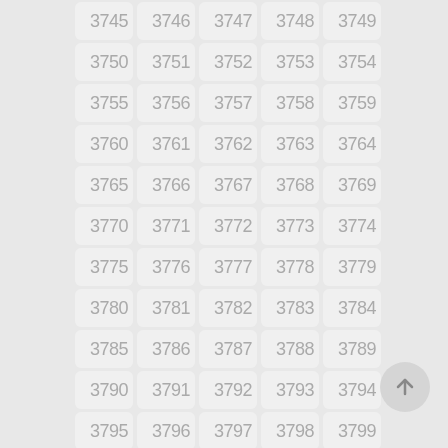| 3745 | 3746 | 3747 | 3748 | 3749 |
| 3750 | 3751 | 3752 | 3753 | 3754 |
| 3755 | 3756 | 3757 | 3758 | 3759 |
| 3760 | 3761 | 3762 | 3763 | 3764 |
| 3765 | 3766 | 3767 | 3768 | 3769 |
| 3770 | 3771 | 3772 | 3773 | 3774 |
| 3775 | 3776 | 3777 | 3778 | 3779 |
| 3780 | 3781 | 3782 | 3783 | 3784 |
| 3785 | 3786 | 3787 | 3788 | 3789 |
| 3790 | 3791 | 3792 | 3793 | 3794 |
| 3795 | 3796 | 3797 | 3798 | 3799 |